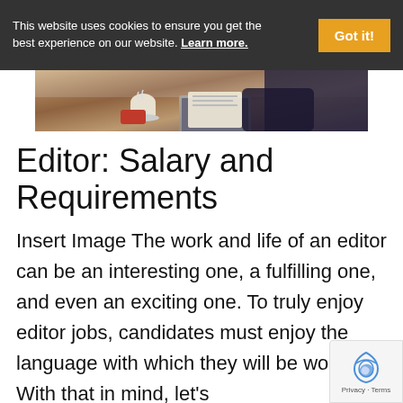This website uses cookies to ensure you get the best experience on our website. Learn more.
[Figure (photo): Person at a desk with coffee cup, laptop, and papers, apparently reviewing documents]
Editor: Salary and Requirements
Insert Image The work and life of an editor can be an interesting one, a fulfilling one, and even an exciting one. To truly enjoy editor jobs, candidates must enjoy the language with which they will be working. With that in mind, let's